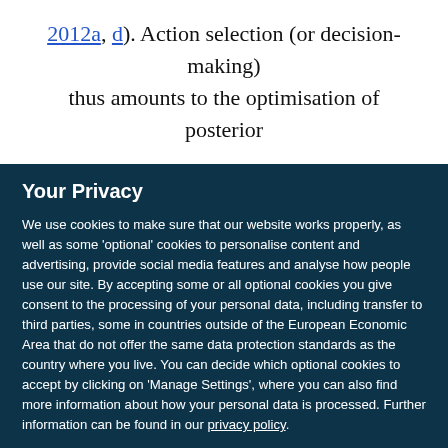2012a, d). Action selection (or decision-making) thus amounts to the optimisation of posterior
Your Privacy
We use cookies to make sure that our website works properly, as well as some ‘optional’ cookies to personalise content and advertising, provide social media features and analyse how people use our site. By accepting some or all optional cookies you give consent to the processing of your personal data, including transfer to third parties, some in countries outside of the European Economic Area that do not offer the same data protection standards as the country where you live. You can decide which optional cookies to accept by clicking on ‘Manage Settings’, where you can also find more information about how your personal data is processed. Further information can be found in our privacy policy.
Accept all cookies
Manage preferences